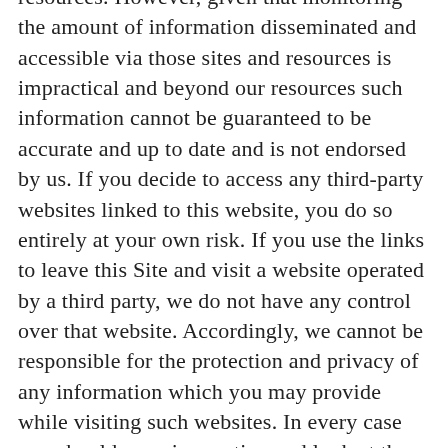resources. However, given that monitoring the amount of information disseminated and accessible via those sites and resources is impractical and beyond our resources such information cannot be guaranteed to be accurate and up to date and is not endorsed by us. If you decide to access any third-party websites linked to this website, you do so entirely at your own risk. If you use the links to leave this Site and visit a website operated by a third party, we do not have any control over that website. Accordingly, we cannot be responsible for the protection and privacy of any information which you may provide while visiting such websites. In every case you should exercise caution and look at the privacy statement applicable to the website in question.
Links by you to this website, and specifically framing or deep linking may only be permitted if